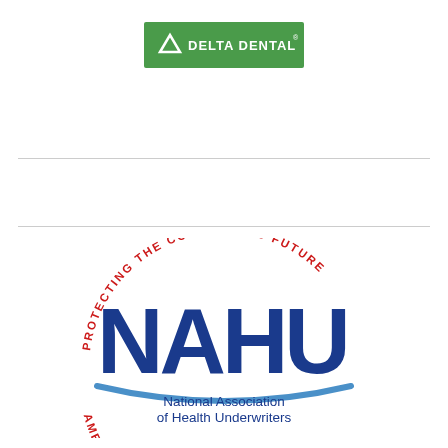[Figure (logo): Delta Dental logo: green rectangle with white triangle/delta symbol and white text 'DELTA DENTAL']
[Figure (logo): NAHU logo: National Association of Health Underwriters circular logo with red arc text 'PROTECTING THE CONSUMER'S FUTURE' at top and 'AMERICA'S BENEFITS SPECIALISTS' at bottom, large blue NAHU letters in center with blue swoosh, and 'National Association of Health Underwriters' text below]